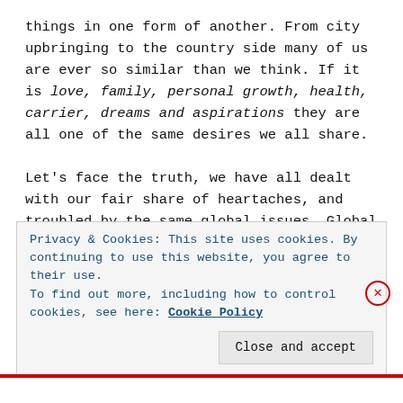things in one form of another. From city upbringing to the country side many of us are ever so similar than we think. If it is love, family, personal growth, health, carrier, dreams and aspirations they are all one of the same desires we all share.

Let's face the truth, we have all dealt with our fair share of heartaches, and troubled by the same global issues. Global warming, terrorism, natural disasters, health dilemmas, you name it. We have all either
Privacy & Cookies: This site uses cookies. By continuing to use this website, you agree to their use. To find out more, including how to control cookies, see here: Cookie Policy